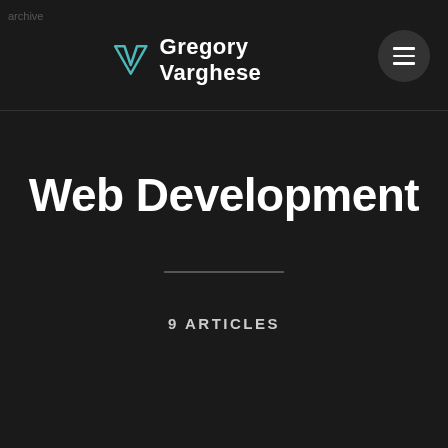archive
Gregory Varghese
Web Development
9 ARTICLES